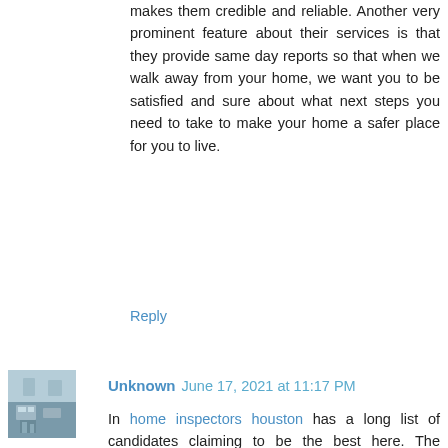makes them credible and reliable. Another very prominent feature about their services is that they provide same day reports so that when we walk away from your home, we want you to be satisfied and sure about what next steps you need to take to make your home a safer place for you to live.
Reply
Unknown  June 17, 2021 at 11:17 PM
In home inspectors houston has a long list of candidates claiming to be the best here. The threats to the health and beauty of a house have resulted in the increased trends towards home inspection. There is a large number of houston home inspectors has but only a few can be trusted as there are many factors that should be considered while hiring a home inspection company or calling a specific home inspector inside your house. The very first thing that should be made sure is that either the company from which you are hiring your services is certified or not. Certifications are very important as they are a proof that the company is